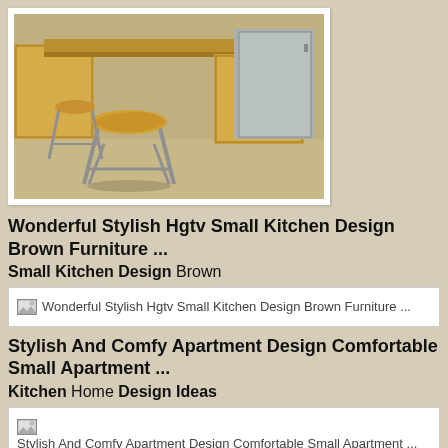[Figure (photo): Kitchen stool with metal legs and wooden seat in front of wooden kitchen cabinets and stainless steel appliances]
Wonderful Stylish Hgtv Small Kitchen Design Brown Furniture ...
Small Kitchen Design Brown
[Figure (screenshot): Broken image placeholder: Wonderful Stylish Hgtv Small Kitchen Design Brown Furniture ...]
Stylish And Comfy Apartment Design Comfortable Small Apartment ...
Kitchen Home Design Ideas
[Figure (screenshot): Broken image placeholder: Stylish And Comfy Apartment Design Comfortable Small Apartment ...]
Kitchen Corner Sinks: Design Inspirations That Showcase A Diverse ...